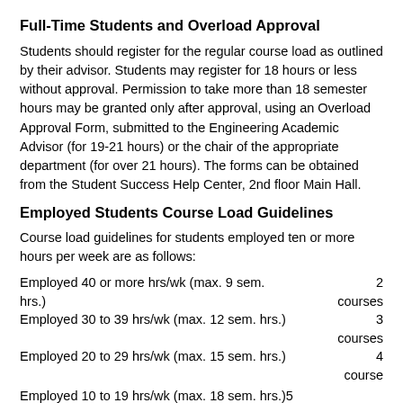Full-Time Students and Overload Approval
Students should register for the regular course load as outlined by their advisor. Students may register for 18 hours or less without approval. Permission to take more than 18 semester hours may be granted only after approval, using an Overload Approval Form, submitted to the Engineering Academic Advisor (for 19-21 hours) or the chair of the appropriate department (for over 21 hours). The forms can be obtained from the Student Success Help Center, 2nd floor Main Hall.
Employed Students Course Load Guidelines
Course load guidelines for students employed ten or more hours per week are as follows:
Employed 40 or more hrs/wk (max. 9 sem. hrs.)     2 courses
Employed 30 to 39 hrs/wk (max. 12 sem. hrs.)3 courses
Employed 20 to 29 hrs/wk (max. 15 sem. hrs.)4 courses
Employed 10 to 19 hrs/wk (max. 18 sem. hrs.)5